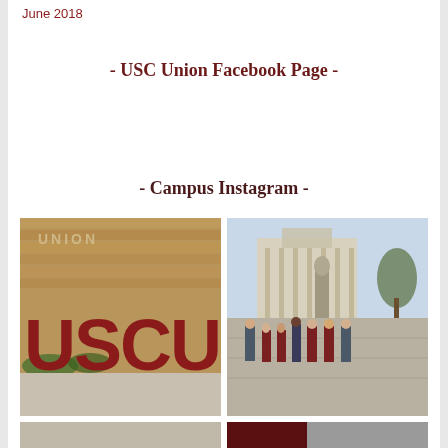June 2018
- USC Union Facebook Page -
- Campus Instagram -
[Figure (photo): USCU large red letter sign in front of a brick wall with 'UNION' text above]
[Figure (photo): Group of students and adults posing outdoors in front of a government building and monument, several wearing USC Union sweatshirts]